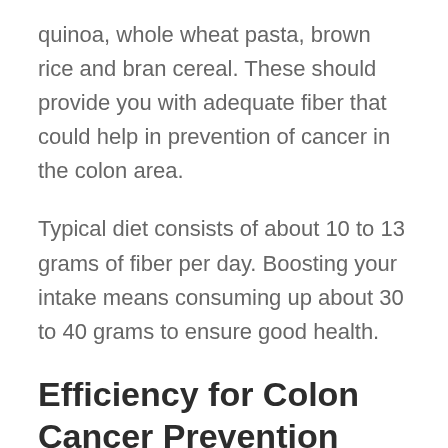quinoa, whole wheat pasta, brown rice and bran cereal. These should provide you with adequate fiber that could help in prevention of cancer in the colon area.
Typical diet consists of about 10 to 13 grams of fiber per day. Boosting your intake means consuming up about 30 to 40 grams to ensure good health.
Efficiency for Colon Cancer Prevention